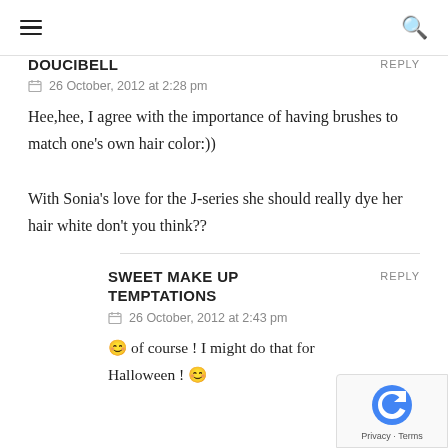☰  🔍
DOUCIBELL  REPLY
26 October, 2012 at 2:28 pm
Hee,hee, I agree with the importance of having brushes to match one's own hair color:))
With Sonia's love for the J-series she should really dye her hair white don't you think??
SWEET MAKE UP TEMPTATIONS  REPLY
26 October, 2012 at 2:43 pm
😊 of course ! I might do that for Halloween ! 😊